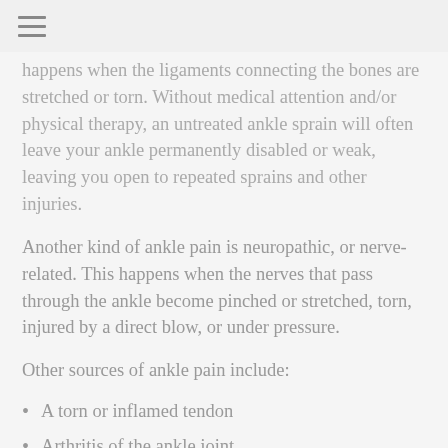≡
happens when the ligaments connecting the bones are stretched or torn. Without medical attention and/or physical therapy, an untreated ankle sprain will often leave your ankle permanently disabled or weak, leaving you open to repeated sprains and other injuries.
Another kind of ankle pain is neuropathic, or nerve-related. This happens when the nerves that pass through the ankle become pinched or stretched, torn, injured by a direct blow, or under pressure.
Other sources of ankle pain include:
A torn or inflamed tendon
Arthritis of the ankle joint